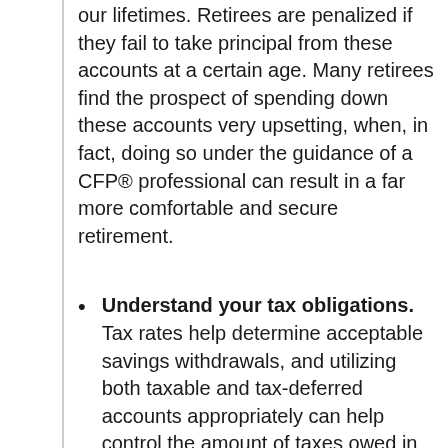our lifetimes. Retirees are penalized if they fail to take principal from these accounts at a certain age. Many retirees find the prospect of spending down these accounts very upsetting, when, in fact, doing so under the guidance of a CFP® professional can result in a far more comfortable and secure retirement.
Understand your tax obligations. Tax rates help determine acceptable savings withdrawals, and utilizing both taxable and tax-deferred accounts appropriately can help control the amount of taxes owed in any given year. Withdrawing from these two